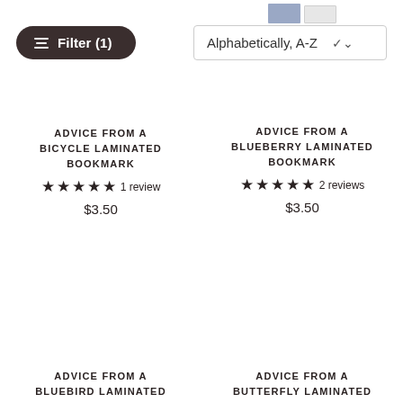Filter (1)
Alphabetically, A-Z
ADVICE FROM A BICYCLE LAMINATED BOOKMARK
★★★★★ 1 review
$3.50
ADVICE FROM A BLUEBERRY LAMINATED BOOKMARK
★★★★★ 2 reviews
$3.50
ADVICE FROM A BLUEBIRD LAMINATED BOOKMARK
ADVICE FROM A BUTTERFLY LAMINATED BOOKMARK